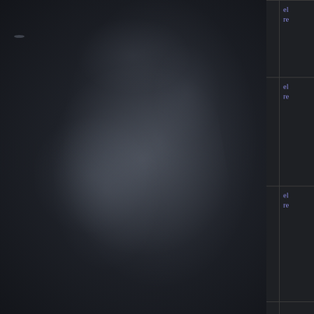[Figure (illustration): Dark atmospheric smoke/mist background panel on the left side of the page, with a golden/amber vertical border line separating it from the table content on the right.]
| Name | Level | Effect | (extra) |
| --- | --- | --- | --- |
| of the Crystal | 1 | Passive Skills also grant: +2% to Elemental Resistance | el... re... |
| of the Prism | 68 | Added Small Passive Skills also grant: +3% to Elemental Resistance | el... re... |
| of the Kaleidoscope | 73 | Added Small Passive Skills also grant: +4% to Elemental Resistance | el... re... |
|  |  | Added Small Passive Skills |  |